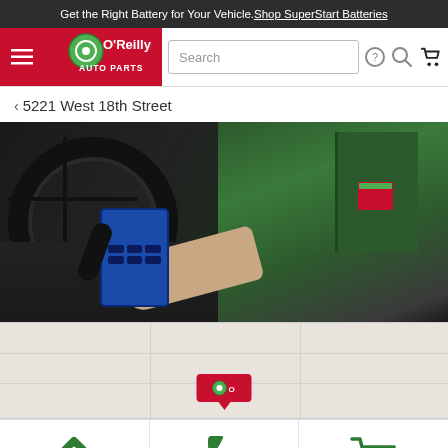Get the Right Battery for Your Vehicle. Shop SuperStart Batteries
[Figure (screenshot): O'Reilly Auto Parts website header with logo, hamburger menu, search bar, help icon, search icon, and cart icon]
< 5221 West 18th Street
[Figure (photo): An O'Reilly Auto Parts employee in green uniform using a diagnostic scanner device in a customer's car interior]
[Figure (map): Map showing store location with a red O'Reilly marker pin]
[Figure (infographic): Bottom navigation bar with three icons: green direction/navigation diamond icon, green phone icon, green shopping cart icon]